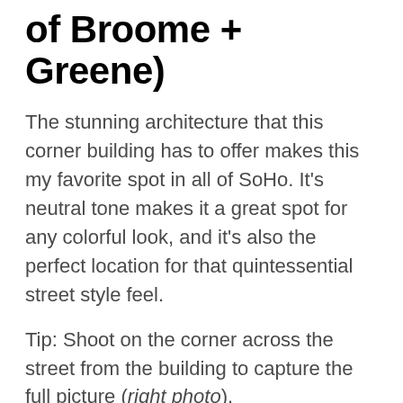of Broome + Greene)
The stunning architecture that this corner building has to offer makes this my favorite spot in all of SoHo. It's neutral tone makes it a great spot for any colorful look, and it's also the perfect location for that quintessential street style feel.
Tip: Shoot on the corner across the street from the building to capture the full picture (right photo).
See a live view of this spot here.